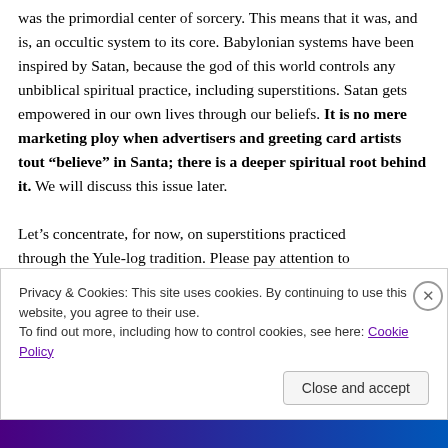was the primordial center of sorcery. This means that it was, and is, an occultic system to its core. Babylonian systems have been inspired by Satan, because the god of this world controls any unbiblical spiritual practice, including superstitions. Satan gets empowered in our own lives through our beliefs. It is no mere marketing ploy when advertisers and greeting card artists tout “believe” in Santa; there is a deeper spiritual root behind it. We will discuss this issue later.

Let’s concentrate, for now, on superstitions practiced through the Yule-log tradition. Please pay attention to
Privacy & Cookies: This site uses cookies. By continuing to use this website, you agree to their use.
To find out more, including how to control cookies, see here: Cookie Policy